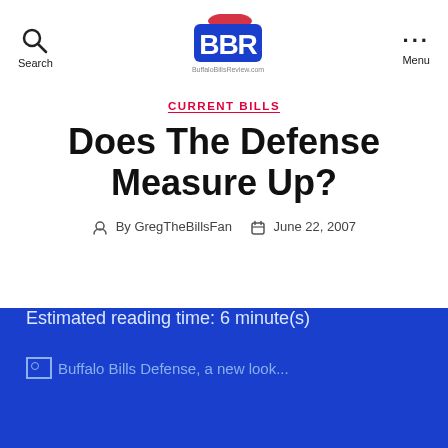Search | BBR logo | Menu
CURRENT BILLS
Does The Defense Measure Up?
By GregTheBillsFan   June 22, 2007
Estimated reading time: 6 minute(s)
Buffalo Bills Defense, a new look...